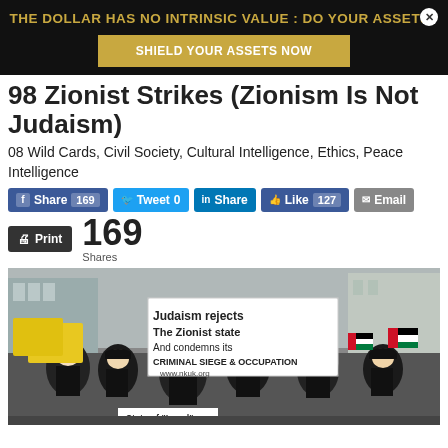[Figure (infographic): Ad banner with black background. Text: 'THE DOLLAR HAS NO INTRINSIC VALUE : DO YOUR ASSETS?' in gold, and a gold button reading 'SHIELD YOUR ASSETS NOW'. White X close button in top right.]
98 Zionist Strikes (Zionism Is Not Judaism)
08 Wild Cards, Civil Society, Cultural Intelligence, Ethics, Peace Intelligence
[Figure (infographic): Social sharing buttons row: Facebook Share 169, Tweet 0, LinkedIn Share, Like 127, Email]
[Figure (infographic): Print button and '169 Shares' count display]
[Figure (photo): Protest photo showing Orthodox Jewish men marching and holding signs, including one that reads 'Judaism rejects The Zionist state And condemns its CRIMINAL SIEGE & OCCUPATION www.nkuk.org'. Bottom sign partially visible: 'State of Israel']